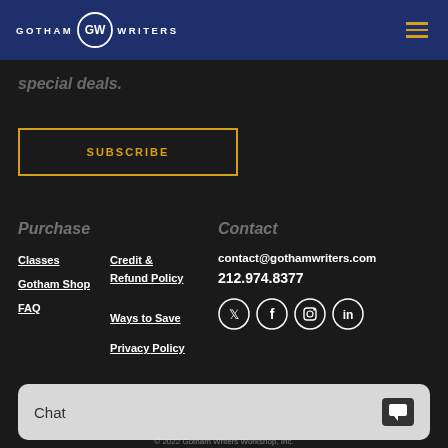[Figure (logo): Gotham Writers Workshop logo with circular GW emblem and hamburger menu icon]
special deals.
SUBSCRIBE
Purchase
Contact
Classes
Gotham Shop
FAQ
Credit & Refund Policy
Ways to Save
Privacy Policy
contact@gothamwriters.com
212.974.8377
[Figure (other): Social media icons: Twitter, Facebook, Instagram, LinkedIn]
Chat
© 2022 Gotham Writers Workshop, Inc.